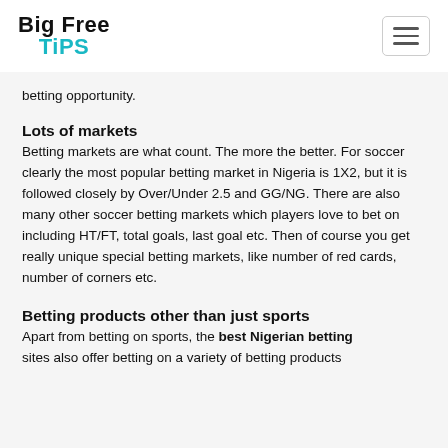Big Free Tips
betting opportunity.
Lots of markets
Betting markets are what count. The more the better. For soccer clearly the most popular betting market in Nigeria is 1X2, but it is followed closely by Over/Under 2.5 and GG/NG. There are also many other soccer betting markets which players love to bet on including HT/FT, total goals, last goal etc. Then of course you get really unique special betting markets, like number of red cards, number of corners etc.
Betting products other than just sports
Apart from betting on sports, the best Nigerian betting sites also offer betting on a variety of betting products